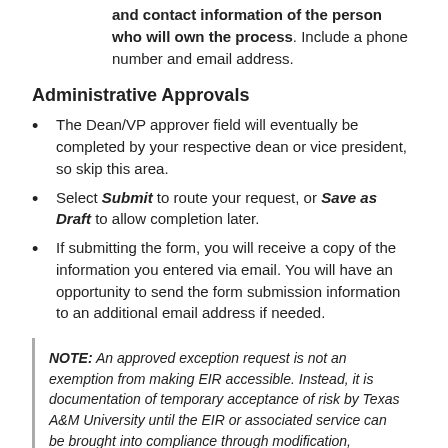and contact information of the person who will own the process. Include a phone number and email address.
Administrative Approvals
The Dean/VP approver field will eventually be completed by your respective dean or vice president, so skip this area.
Select Submit to route your request, or Save as Draft to allow completion later.
If submitting the form, you will receive a copy of the information you entered via email. You will have an opportunity to send the form submission information to an additional email address if needed.
NOTE: An approved exception request is not an exemption from making EIR accessible. Instead, it is documentation of temporary acceptance of risk by Texas A&M University until the EIR or associated service can be brought into compliance through modification, substitution with a comparable accessible EIR, or